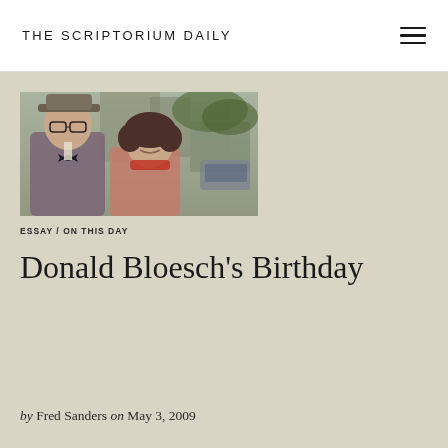THE SCRIPTORIUM DAILY
[Figure (photo): Vintage color photograph of an elderly man wearing glasses, a hat, and a bow tie, standing next to a younger woman with short dark hair smiling, outdoors with blurred buildings in the background.]
ESSAY / ON THIS DAY
Donald Bloesch's Birthday
by Fred Sanders on May 3, 2009